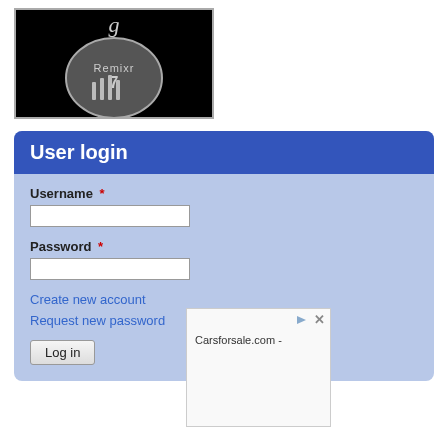[Figure (logo): Black background logo image with a circular metallic emblem containing stylized text/numbers, with a cursive letter above it]
User login
Username *
Password *
Create new account
Request new password
Log in
[Figure (screenshot): Advertisement box showing 'Carsforsale.com -' text with play and close icons at top right]